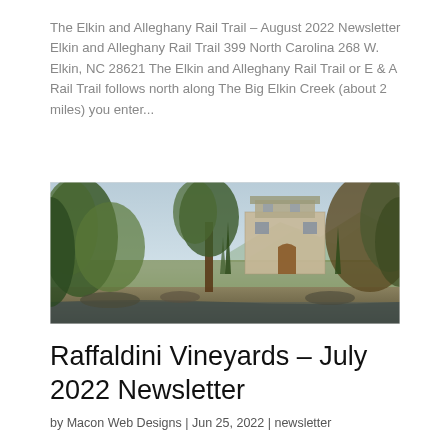The Elkin and Alleghany Rail Trail – August 2022 Newsletter Elkin and Alleghany Rail Trail 399 North Carolina 268 W. Elkin, NC 28621 The Elkin and Alleghany Rail Trail or E & A Rail Trail follows north along The Big Elkin Creek (about 2 miles) you enter...
[Figure (photo): Exterior photo of a stone building (Raffaldini Vineyards) surrounded by trees, cypress trees, and vineyard landscape with mountains in the background]
Raffaldini Vineyards – July 2022 Newsletter
by Macon Web Designs | Jun 25, 2022 | newsletter